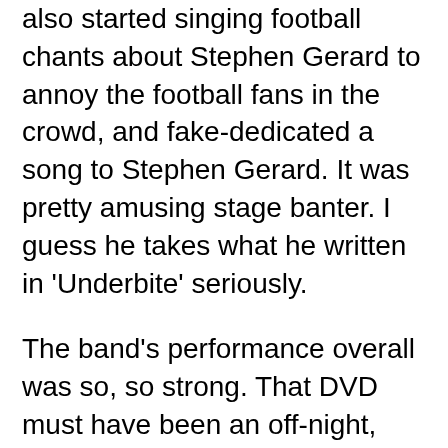and then joking about getting him into bed. He also started singing football chants about Stephen Gerard to annoy the football fans in the crowd, and fake-dedicated a song to Stephen Gerard. It was pretty amusing stage banter. I guess he takes what he written in 'Underbite' seriously.
The band's performance overall was so, so strong. That DVD must have been an off-night, because what I saw tonight was a frigging phenomenal Live Band. It was such a good, good show.
It was such a good show I even bought a t-shirt afterwards (a thing my wallet has stopped me doing since seeing Queencryche